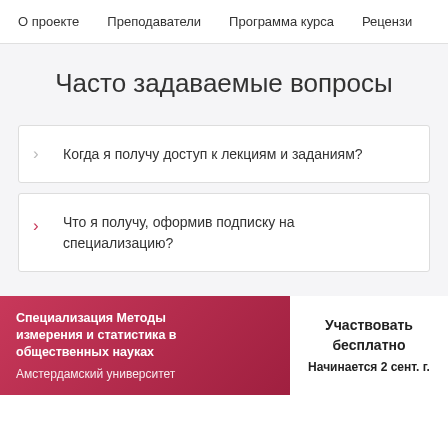О проекте   Преподаватели   Программа курса   Рецензи
Часто задаваемые вопросы
Когда я получу доступ к лекциям и заданиям?
Что я получу, оформив подписку на специализацию?
Специализация Методы измерения и статистика в общественных науках
Амстердамский университет
Участвовать бесплатно
Начинается 2 сент. г.